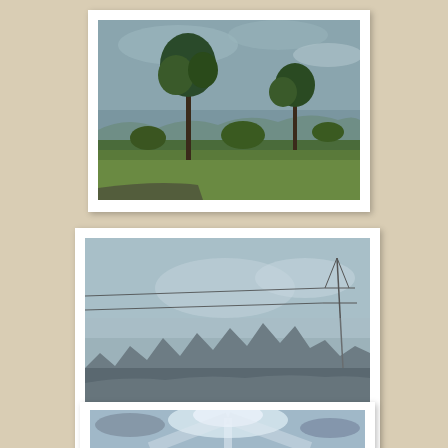[Figure (photo): Outdoor landscape photo showing tall trees and green grass/savanna with mountains in the background under a cloudy sky.]
[Figure (photo): Landscape photo of the Saw Tooth Mountains in the distance, with a power line tower visible on the right, misty atmosphere.]
The great Saw Tooth Mountains.
[Figure (photo): Partial photo showing bright sky with clouds and light rays, bottom of image cut off.]